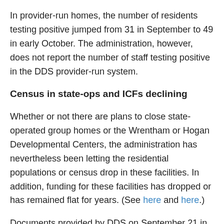In provider-run homes, the number of residents testing positive jumped from 31 in September to 49 in early October. The administration, however, does not report the number of staff testing positive in the DDS provider-run system.
Census in state-ops and ICFs declining
Whether or not there are plans to close state-operated group homes or the Wrentham or Hogan Developmental Centers, the administration has nevertheless been letting the residential populations or census drop in these facilities. In addition, funding for these facilities has dropped or has remained flat for years. (See here and here.)
Documents provided by DDS on September 21 in response to a Public Records Request for records on the